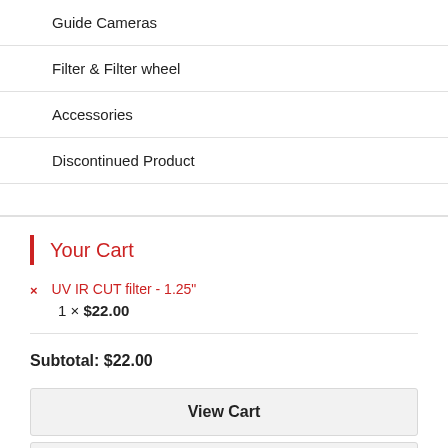Guide Cameras
Filter & Filter wheel
Accessories
Discontinued Product
Your Cart
× UV IR CUT filter - 1.25"
1 × $22.00
Subtotal: $22.00
View Cart
Checkout